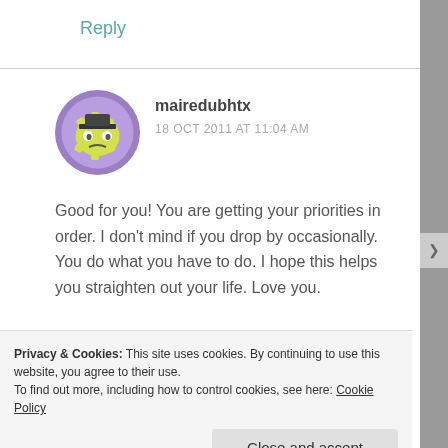Reply
[Figure (illustration): Circular avatar with purple background showing a cartoon yellow gear/cog face character with a neutral expression]
mairedubhtx
18 OCT 2011 AT 11:04 AM
Good for you! You are getting your priorities in order. I don't mind if you drop by occasionally. You do what you have to do. I hope this helps you straighten out your life. Love you.
Privacy & Cookies: This site uses cookies. By continuing to use this website, you agree to their use. To find out more, including how to control cookies, see here: Cookie Policy
Close and accept